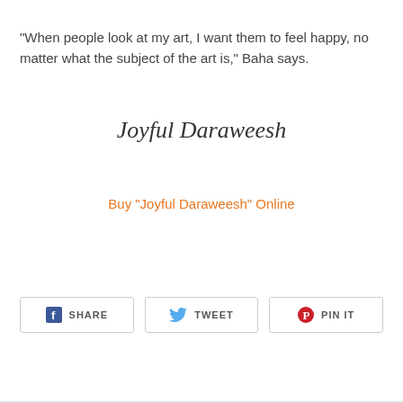"When people look at my art, I want them to feel happy, no matter what the subject of the art is," Baha says.
Joyful Daraweesh
Buy "Joyful Daraweesh" Online
[Figure (other): Social sharing buttons: Facebook Share, Twitter Tweet, Pinterest Pin It]